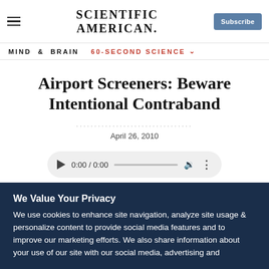SCIENTIFIC AMERICAN
MIND & BRAIN 60-SECOND SCIENCE
Airport Screeners: Beware Intentional Contraband
April 26, 2010
[Figure (other): Audio player widget showing 0:00 / 0:00 with play button, progress bar, volume and more options icons]
We Value Your Privacy

We use cookies to enhance site navigation, analyze site usage & personalize content to provide social media features and to improve our marketing efforts. We also share information about your use of our site with our social media, advertising and